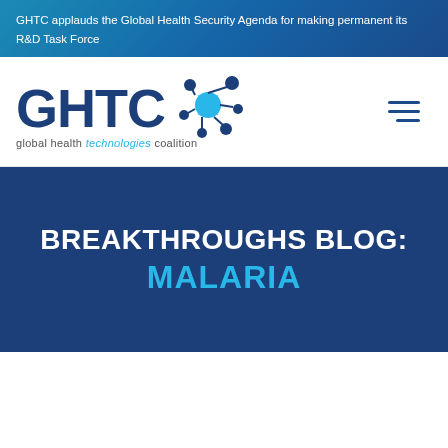GHTC applauds the Global Health Security Agenda for making permanent its R&D Task Force
[Figure (logo): GHTC – Global Health Technologies Coalition logo with blue molecular/network graphic and text 'global health technologies coalition']
BREAKTHROUGHS BLOG: MALARIA